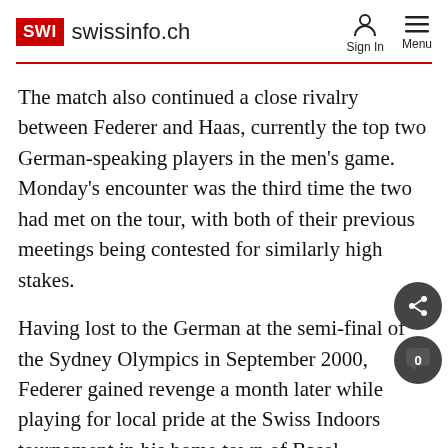SWI swissinfo.ch | Sign In | Menu
The match also continued a close rivalry between Federer and Haas, currently the top two German-speaking players in the men's game. Monday's encounter was the third time the two had met on the tour, with both of their previous meetings being contested for similarly high stakes.
Having lost to the German at the semi-final of the Sydney Olympics in September 2000, Federer gained revenge a month later while playing for local pride at the Swiss Indoors tournament in his home town of Basel.